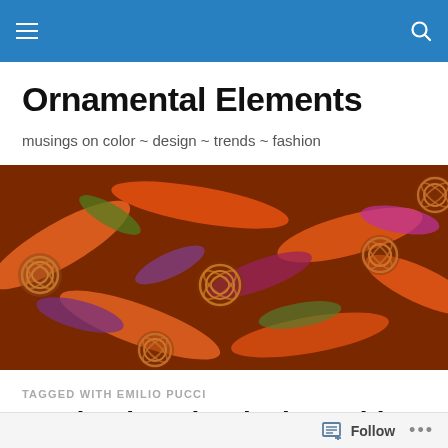Navigation bar with hamburger menu and search icon
Ornamental Elements
musings on color ~ design ~ trends ~ fashion
[Figure (photo): Close-up photo of colorful abstract ornamental elements — copper wire balls among vibrant orange, green, purple, and pink curved shapes]
TAGGED WITH EMILIO PUCCI
Predominately Black & White
Follow ...